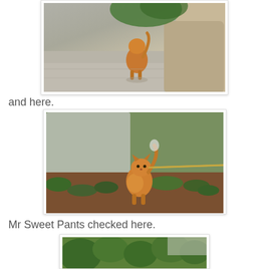[Figure (photo): An orange fluffy cat walking on a concrete porch/steps near a large pot with green foliage, viewed from behind.]
and here.
[Figure (photo): An orange fluffy cat on a leash/string standing in a garden with ground cover plants and a concrete wall in the background.]
Mr Sweet Pants checked here.
[Figure (photo): Partial view of green bushes/shrubs in a garden, partially cropped at the bottom of the page.]